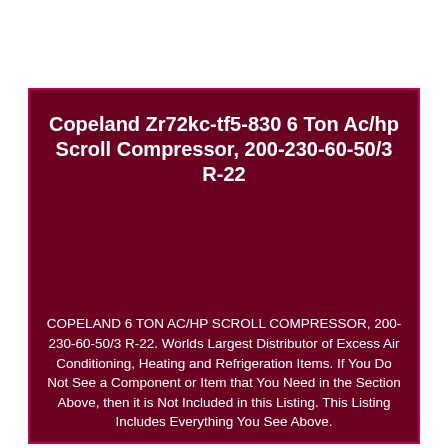Copeland Zr72kc-tf5-830 6 Ton Ac/hp Scroll Compressor, 200-230-60-50/3 R-22
[Figure (photo): Dark maroon background image area (product photo area, appears blank/dark in this view)]
COPELAND 6 TON AC/HP SCROLL COMPRESSOR, 200-230-60-50/3 R-22. Worlds Largest Distributor of Excess Air Conditioning, Heating and Refrigeration Items. If You Do Not See a Component or Item that You Need in the Section Above, then it is Not Included in this Listing. This Listing Includes Everything You See Above.